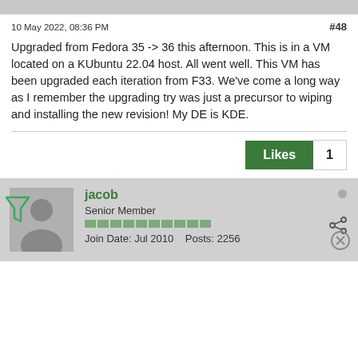10 May 2022, 08:36 PM
#48
Upgraded from Fedora 35 -> 36 this afternoon. This is in a VM located on a KUbuntu 22.04 host. All went well. This VM has been upgraded each iteration from F33. We've come a long way as I remember the upgrading try was just a precursor to wiping and installing the new revision! My DE is KDE.
Likes 1
jacob
Senior Member
Join Date: Jul 2010    Posts: 2256